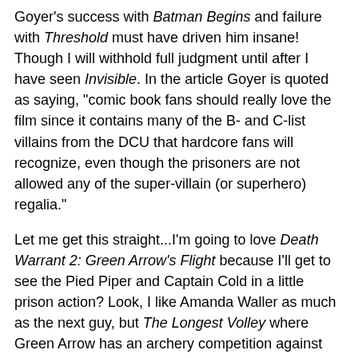Goyer's success with Batman Begins and failure with Threshold must have driven him insane! Though I will withhold full judgment until after I have seen Invisible. In the article Goyer is quoted as saying, "comic book fans should really love the film since it contains many of the B- and C-list villains from the DCU that hardcore fans will recognize, even though the prisoners are not allowed any of the super-villain (or superhero) regalia."
Let me get this straight...I'm going to love Death Warrant 2: Green Arrow's Flight because I'll get to see the Pied Piper and Captain Cold in a little prison action? Look, I like Amanda Waller as much as the next guy, but The Longest Volley where Green Arrow has an archery competition against Deadshot while the guards look on ominously isn't making me giddy. The thought of underground prison fights between Green Arrow and Bronze Tiger in Lock Up 2: Queen's Trial is making me contemplate suicide.
Given Green Arrow's real name, Oliver Queen, I can only imagine some of the innuendo laden prison dialog that awaits me if this film ever gets released.